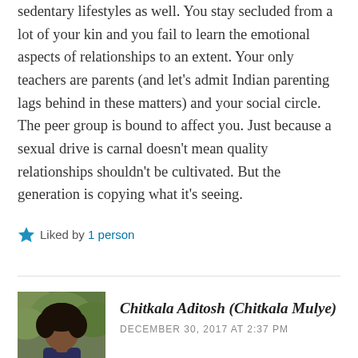sedentary lifestyles as well. You stay secluded from a lot of your kin and you fail to learn the emotional aspects of relationships to an extent. Your only teachers are parents (and let's admit Indian parenting lags behind in these matters) and your social circle. The peer group is bound to affect you. Just because a sexual drive is carnal doesn't mean quality relationships shouldn't be cultivated. But the generation is copying what it's seeing.
Liked by 1 person
Chitkala Aditosh (Chitkala Mulye)
DECEMBER 30, 2017 AT 2:37 PM